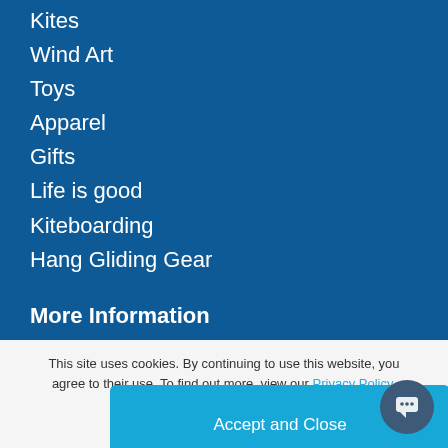Kites
Wind Art
Toys
Apparel
Gifts
Life is good
Kiteboarding
Hang Gliding Gear
More Information
Waiver Requests
Employment
Groups
This site uses cookies. By continuing to use this website, you agree to their use. To find out more, view our Privacy Policy.
Accept and Close